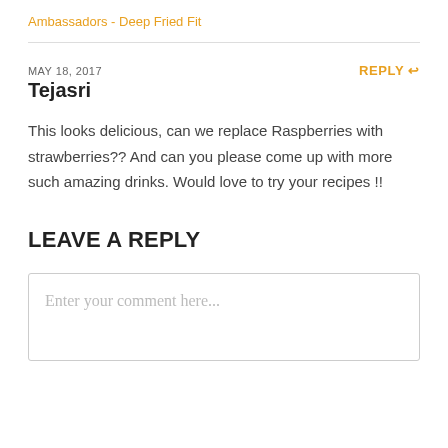Ambassadors - Deep Fried Fit
MAY 18, 2017
REPLY ↩
Tejasri
This looks delicious, can we replace Raspberries with strawberries?? And can you please come up with more such amazing drinks. Would love to try your recipes !!
LEAVE A REPLY
Enter your comment here...